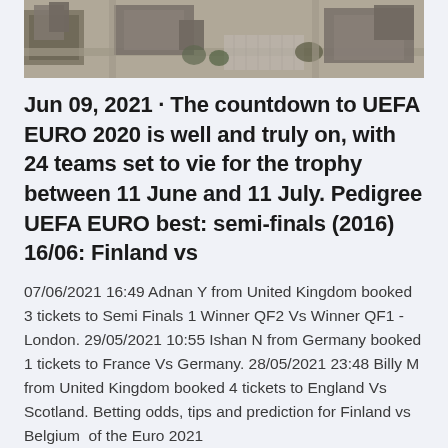[Figure (photo): Aerial/satellite view of urban area with buildings, roads, and parking lots in sepia/grayscale tone, shown at the top of the page, partially cropped]
Jun 09, 2021 · The countdown to UEFA EURO 2020 is well and truly on, with 24 teams set to vie for the trophy between 11 June and 11 July. Pedigree UEFA EURO best: semi-finals (2016) 16/06: Finland vs
07/06/2021 16:49 Adnan Y from United Kingdom booked 3 tickets to Semi Finals 1 Winner QF2 Vs Winner QF1 - London. 29/05/2021 10:55 Ishan N from Germany booked 1 tickets to France Vs Germany. 28/05/2021 23:48 Billy M from United Kingdom booked 4 tickets to England Vs Scotland. Betting odds, tips and prediction for Finland vs Belgium  of the Euro 2021